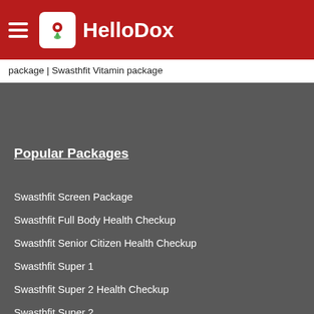HelloDox
package | Swasthfit Vitamin package
Popular Packages
Swasthfit Screen Package
Swasthfit Full Body Health Checkup
Swasthfit Senior Citizen Health Checkup
Swasthfit Super 1
Swasthfit Super 2 Health Checkup
Swasthfit Super 2
Swasthfit Basic Health Checkup
Swasthfit Vitamin Health Checkup